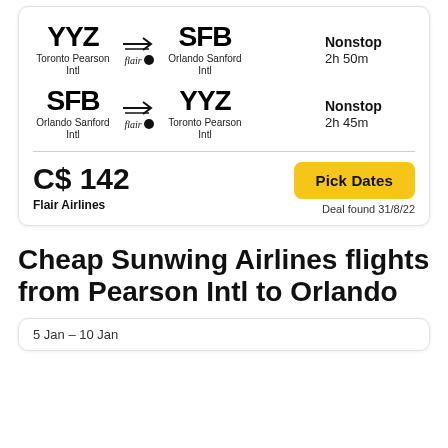YYZ → SFB, Toronto Pearson Intl to Orlando Sanford Intl, Flair, Nonstop, 2h 50m
SFB → YYZ, Orlando Sanford Intl to Toronto Pearson Intl, Flair, Nonstop, 2h 45m
C$ 142
Flair Airlines
Pick Dates
Deal found 31/8/22
Cheap Sunwing Airlines flights from Pearson Intl to Orlando
5 Jan – 10 Jan